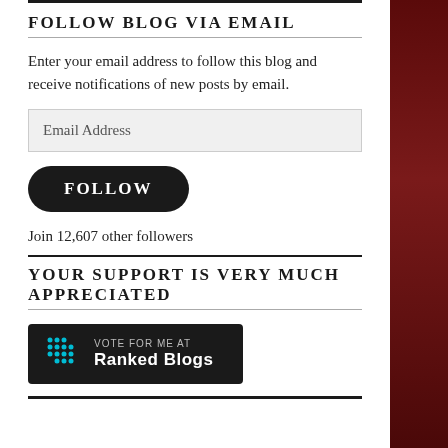FOLLOW BLOG VIA EMAIL
Enter your email address to follow this blog and receive notifications of new posts by email.
Email Address
FOLLOW
Join 12,607 other followers
YOUR SUPPORT IS VERY MUCH APPRECIATED
[Figure (logo): Vote for me at Ranked Blogs badge — dark background with cyan dot-grid icon on left and white text 'VOTE FOR ME AT Ranked Blogs' on right]